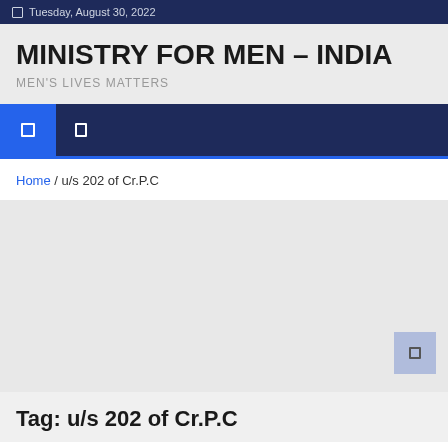Tuesday, August 30, 2022
MINISTRY FOR MEN – INDIA
MEN'S LIVES MATTERS
Home / u/s 202 of Cr.P.C
Tag: u/s 202 of Cr.P.C